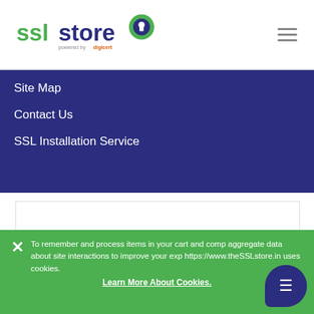[Figure (logo): SSLStore logo powered by DigiCert with padlock icon in green and blue]
Site Map
Contact Us
SSL Installation Service
[Figure (screenshot): White content area/panel]
To remember and process items in your cart and compile aggregate data about site interactions to improve your experience, https://www.theSSLstore.in uses cookies.
Learn More About Cookies.